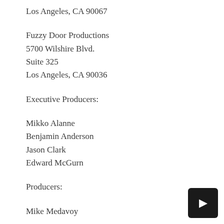Los Angeles, CA 90067
Fuzzy Door Productions
5700 Wilshire Blvd.
Suite 325
Los Angeles, CA 90036
Executive Producers:
Mikko Alanne
Benjamin Anderson
Jason Clark
Edward McGurn
Producers:
Mike Medavoy
Line Producer: